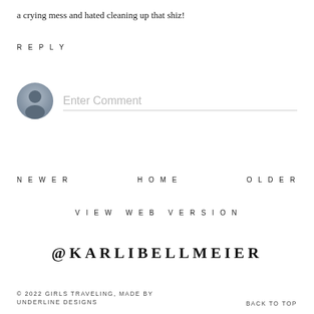a crying mess and hated cleaning up that shiz!
REPLY
[Figure (illustration): User avatar placeholder icon with grey circle background and person silhouette]
Enter Comment
NEWER
HOME
OLDER
VIEW WEB VERSION
@KARLIBELLMEIER
© 2022 GIRLS TRAVELING, MADE BY UNDERLINE DESIGNS
BACK TO TOP